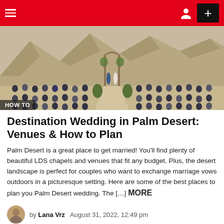HOW TO
[Figure (photo): Outdoor desert wedding ceremony with guests seated in rows, couple at altar under arch, rocky mountains in background]
Destination Wedding in Palm Desert: Venues & How to Plan
Palm Desert is a great place to get married! You'll find plenty of beautiful LDS chapels and venues that fit any budget. Plus, the desert landscape is perfect for couples who want to exchange marriage vows outdoors in a picturesque setting. Here are some of the best places to plan you Palm Desert wedding. The […] MORE
by Lana Vrz   August 31, 2022, 12:49 pm
Read More